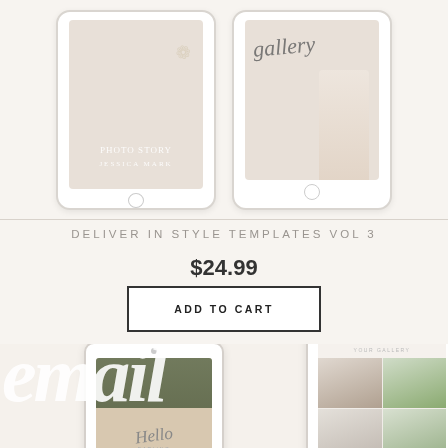[Figure (photo): Two iPad tablet mockups displaying photography portfolio templates. Left tablet shows a dark portrait photo with floral overlay and text. Right tablet shows a light beach/outdoor photo with cursive script overlay.]
DELIVER IN STYLE TEMPLATES VOL 3
$24.99
ADD TO CART
[Figure (photo): Two iPad tablet mockups showing email template designs. Background has large white cursive 'email' watermark text. Left tablet shows a 'Hello' script template. Right tablet shows a multi-photo bridal gallery layout.]